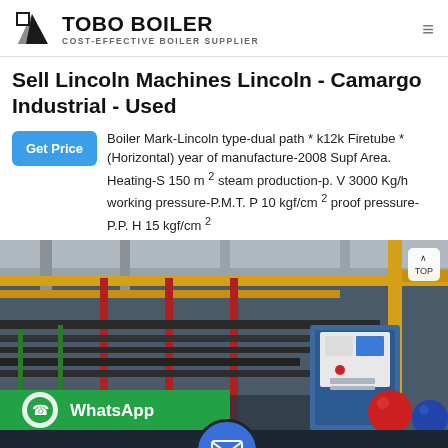TOBO BOILER — COST-EFFECTIVE BOILER SUPPLIER
Sell Lincoln Machines Lincoln - Camargo Industrial - Used
Boiler Mark-Lincoln type-dual path * k12k Firetube * (Horizontal) year of manufacture-2008 Supf Area. Heating-S 150 m ² steam production-p. V 3000 Kg/h working pressure-P.M.T. P 10 kgf/cm ² proof pressure-P.P. H 15 kgf/cm ²
[Figure (photo): Industrial boiler room interior showing pipes, yellow gas lines, red vertical supports, control panels, and industrial equipment.]